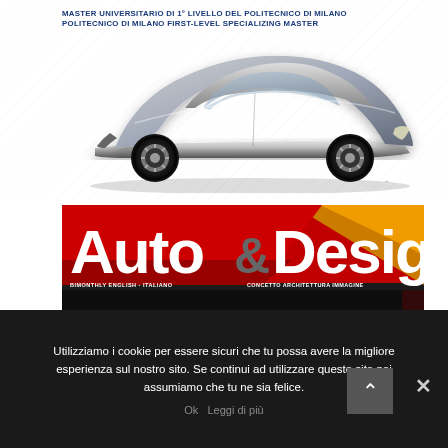MASTER UNIVERSITARIO DI 1° LIVELLO DEL POLITECNICO DI MILANO
POLITECNICO DI MILANO FIRST-LEVEL SPECIALIZING MASTER
[Figure (illustration): Rendering of a silver futuristic concept car on a white background with diagonal line pattern]
[Figure (photo): Auto & Design magazine cover with large white bold title text on red and black background. Subtitle reads BIMONTHLY ENGLISH - ITALIANO and CONCETTO ARCHITETTURA IMMAGINE. Dark lower half shows a car silhouette.]
Utilizziamo i cookie per essere sicuri che tu possa avere la migliore esperienza sul nostro sito. Se continui ad utilizzare questo sito noi assumiamo che tu ne sia felice.
Ok   Leggi di più